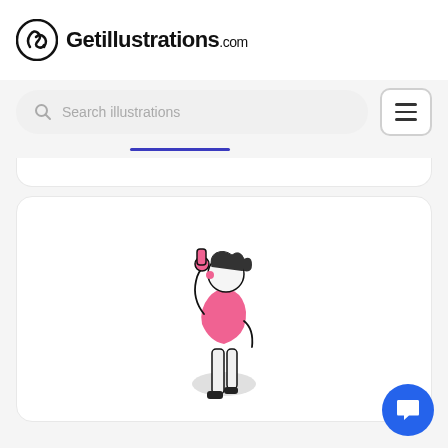[Figure (logo): Getillustrations.com logo with circular icon on left and bold text]
[Figure (screenshot): Search bar with magnifying glass icon and placeholder text 'Search illustrations', plus hamburger menu button on the right]
[Figure (illustration): A person viewed from behind wearing a pink top, with curly hair, leaning forward. Minimalist line-art style with pink fill and light grey shadow circle at feet.]
[Figure (illustration): Blue circular chat/support button in bottom right corner with white speech bubble icon]